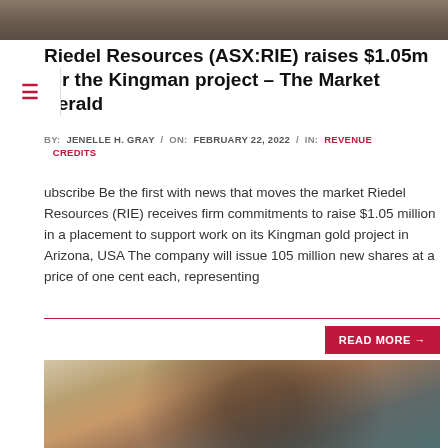[Figure (photo): Top partial photo showing rocky terrain or landscape background]
Riedel Resources (ASX:RIE) raises $1.05m for the Kingman project – The Market Herald
BY: JENELLE H. GRAY / ON: FEBRUARY 22, 2022 / IN: REVENUE CREDITS
Subscribe Be the first with news that moves the market Riedel Resources (RIE) receives firm commitments to raise $1.05 million in a placement to support work on its Kingman gold project in Arizona, USA The company will issue 105 million new shares at a price of one cent each, representing
READ MORE →
[Figure (photo): Photo of a person wearing safety glasses, face mask, cap, and grey hoodie in what appears to be an industrial or laboratory setting]